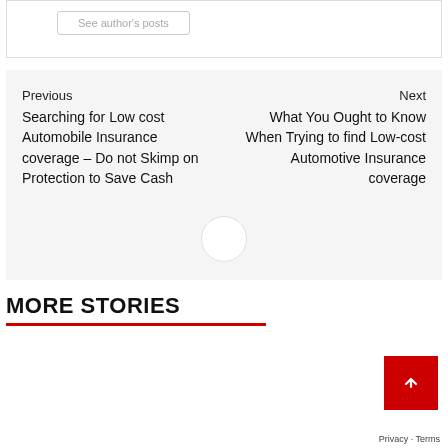See author's posts
Previous
Searching for Low cost Automobile Insurance coverage – Do not Skimp on Protection to Save Cash
Next
What You Ought to Know When Trying to find Low-cost Automotive Insurance coverage
MORE STORIES
[Figure (photo): A blurred/motion photograph of a car in icy or wet winter conditions, blue-gray toned image]